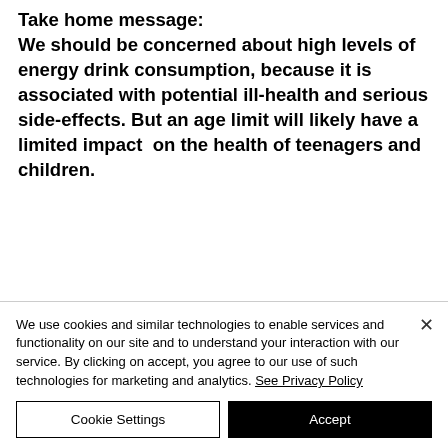Take home message: We should be concerned about high levels of energy drink consumption, because it is associated with potential ill-health and serious side-effects. But an age limit will likely have a limited impact  on the health of teenagers and children.
We use cookies and similar technologies to enable services and functionality on our site and to understand your interaction with our service. By clicking on accept, you agree to our use of such technologies for marketing and analytics. See Privacy Policy